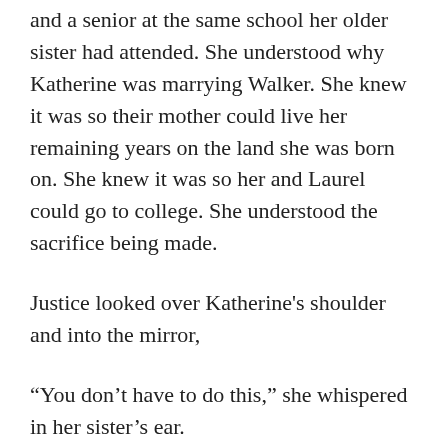and a senior at the same school her older sister had attended. She understood why Katherine was marrying Walker. She knew it was so their mother could live her remaining years on the land she was born on. She knew it was so her and Laurel could go to college. She understood the sacrifice being made.
Justice looked over Katherine's shoulder and into the mirror,
“You don’t have to do this,” she whispered in her sister’s ear.
“I do,” Katherine said with a smirk. “See how easy that was?”
Justice shook her head. “I’m going to tell mom you don’t love him.”